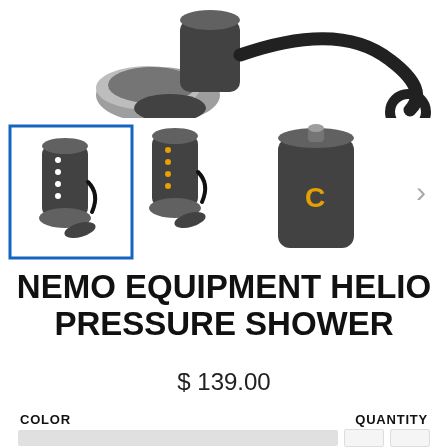[Figure (photo): Top portion of NEMO Helio Pressure Shower product shown from above — black pump device with hose, cropped at top of image]
[Figure (photo): Three thumbnail images of the NEMO Helio Pressure Shower: first selected (blue border) showing black cylindrical pump with hose, second similar angle, third showing black carrying bag with yellow NEMO logo. Right arrow navigation chevron visible.]
NEMO EQUIPMENT HELIO PRESSURE SHOWER
$ 139.00
COLOR
QUANTITY